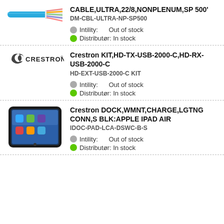[Figure (illustration): Blue twisted pair network cable with exposed wires]
CABLE,ULTRA,22/8,NONPLENUM,SP 500'
DM-CBL-ULTRA-NP-SP500
Intility: Out of stock
Distributør: In stock
[Figure (logo): Crestron logo]
Crestron KIT,HD-TX-USB-2000-C,HD-RX-USB-2000-C
HD-EXT-USB-2000-C KIT
Intility: Out of stock
Distributør: In stock
[Figure (photo): Crestron iPad dock with charging cradle, black, Apple iPad Air]
Crestron DOCK,WMNT,CHARGE,LGTNG CONN,S BLK:APPLE IPAD AIR
IDOC-PAD-LCA-DSWC-B-S
Intility: Out of stock
Distributør: In stock